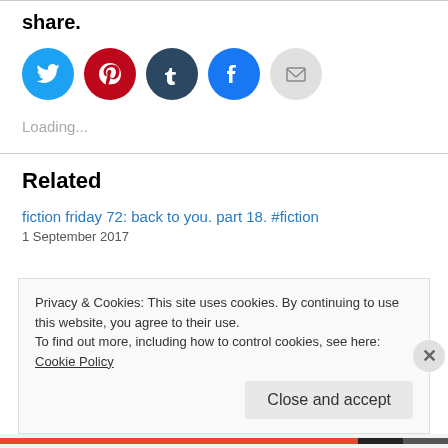share.
[Figure (illustration): Row of social media share icons: Twitter (blue circle), Pinterest (red circle), Tumblr (dark navy circle), Facebook (blue circle), Email (gray circle)]
Loading...
Related
fiction friday 72: back to you. part 18. #fiction
1 September 2017
Privacy & Cookies: This site uses cookies. By continuing to use this website, you agree to their use.
To find out more, including how to control cookies, see here: Cookie Policy
Close and accept